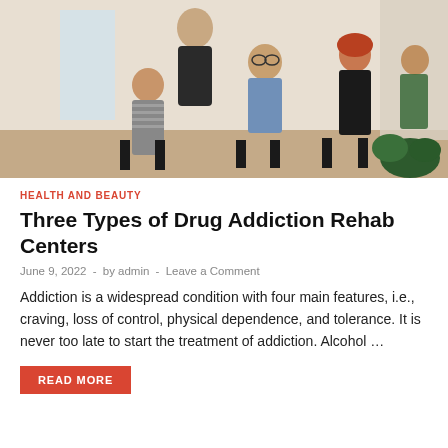[Figure (photo): Group therapy session with several people seated in chairs in a circle, one person standing and speaking, in a bright room with plants.]
HEALTH AND BEAUTY
Three Types of Drug Addiction Rehab Centers
June 9, 2022  -  by admin  -  Leave a Comment
Addiction is a widespread condition with four main features, i.e., craving, loss of control, physical dependence, and tolerance. It is never too late to start the treatment of addiction. Alcohol …
READ MORE